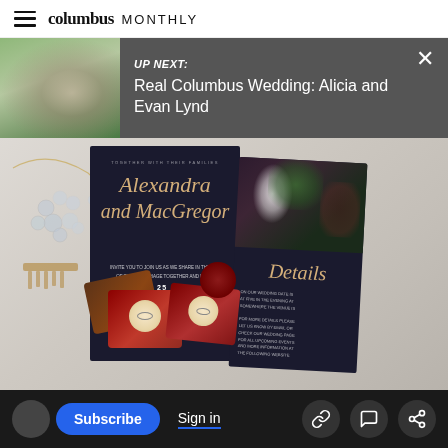columbus MONTHLY
UP NEXT: Real Columbus Wedding: Alicia and Evan Lynd
[Figure (photo): Wedding flat-lay photo showing dark navy wedding invitations with gold script calligraphy reading 'Alexandra and MacGregor', jewelry accessories including crystal hair comb and necklace, velvet ring boxes in burgundy and brown with rings, and a wax seal on a marble surface.]
Subscribe  Sign in